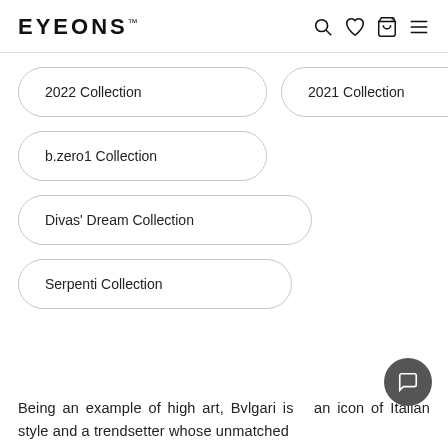EYEONS™
2022 Collection
2021 Collection
b.zero1 Collection
Divas' Dream Collection
Serpenti Collection
Being an example of high art, Bvlgari is  an icon of Italian style and a trendsetter whose unmatched